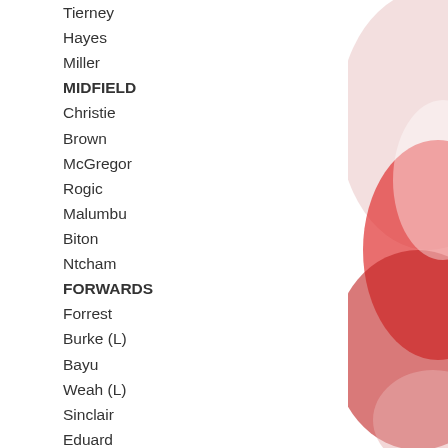Tierney
Hayes
Miller
MIDFIELD
Christie
Brown
McGregor
Rogic
Malumbu
Biton
Ntcham
FORWARDS
Forrest
Burke (L)
Bayu
Weah (L)
Sinclair
Eduard
Johnston
If Weah does stay for eighteen months, then at the end of the season, hopefully prior to the CL, we would lose only Benkovic, Burke, Lustig and Sumunovic – Arzani and Morgan would come back in. So maybe a replacement for Lustig would be all that is